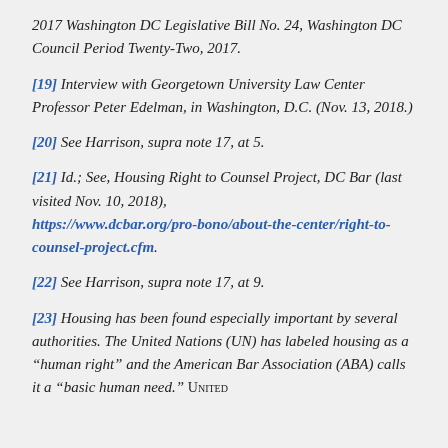2017 Washington DC Legislative Bill No. 24, Washington DC Council Period Twenty-Two, 2017.
[19] Interview with Georgetown University Law Center Professor Peter Edelman, in Washington, D.C. (Nov. 13, 2018.)
[20] See Harrison, supra note 17, at 5.
[21] Id.; See, Housing Right to Counsel Project, DC Bar (last visited Nov. 10, 2018), https://www.dcbar.org/pro-bono/about-the-center/right-to-counsel-project.cfm.
[22] See Harrison, supra note 17, at 9.
[23] Housing has been found especially important by several authorities. The United Nations (UN) has labeled housing as a “human right” and the American Bar Association (ABA) calls it a “basic human need.” UNITED